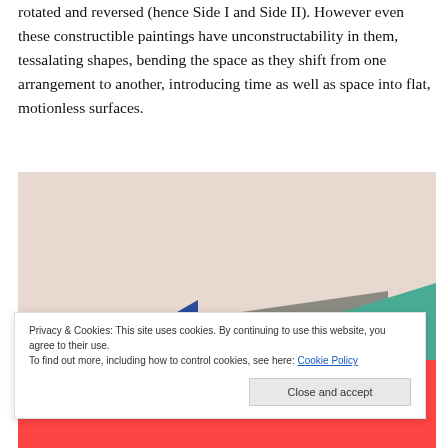rotated and reversed (hence Side I and Side II). However even these constructible paintings have unconstructability in them, tessalating shapes, bending the space as they shift from one arrangement to another, introducing time as well as space into flat, motionless surfaces.
[Figure (photo): Photograph of an abstract painting on a wall. The painting shows geometric shapes: a blue triangle on the left, a gray parallelogram in the center, and a teal/green triangle on the right, against a light pinkish-beige background. A red/coral strip is visible at the very bottom of the image.]
Privacy & Cookies: This site uses cookies. By continuing to use this website, you agree to their use.
To find out more, including how to control cookies, see here: Cookie Policy
Close and accept